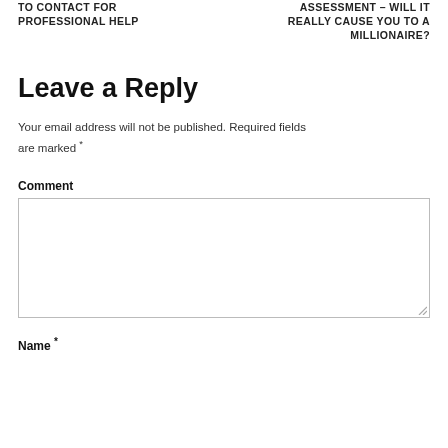TO CONTACT FOR PROFESSIONAL HELP
ASSESSMENT – WILL IT REALLY CAUSE YOU TO A MILLIONAIRE?
Leave a Reply
Your email address will not be published. Required fields are marked *
Comment
Name *